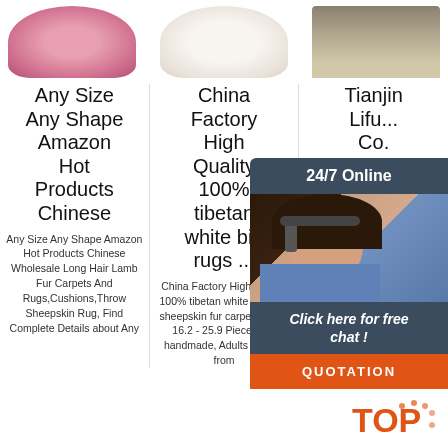[Figure (photo): Three product photos at top: pink fluffy rug, white fluffy rug, beige/cream rug]
Any Size Any Shape Amazon Hot Products Chinese
Any Size Any Shape Amazon Hot Products Chinese Wholesale Long Hair Lamb Fur Carpets And Rugs,Cushions,Throw Sheepskin Rug, Find Complete Details about Any
China Factory High Quality 100% tibetan white big rugs ...
China Factory High Quality 100% tibetan white big rugs sheepskin fur carpets, US $ 16.2 - 25.9 Piece, Fur, handmade, Adults Source from
Tianjin Lifu... Co. Ca... l...
Facto... Decora... 3d... Entran... Doorm... Modern design printed polyester carpet rugs living room carpets for sale. $4.20 - $6.50 Square Meter. 100
[Figure (infographic): 24/7 Online chat widget with female agent photo, 'Click here for free chat!' text, and QUOTATION button]
[Figure (logo): TOP logo in orange with decorative dots]